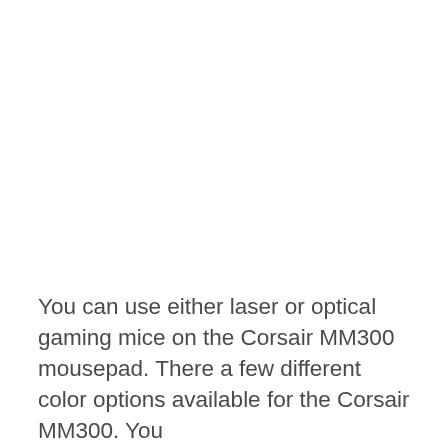You can use either laser or optical gaming mice on the Corsair MM300 mousepad. There a few different color options available for the Corsair MM300. You